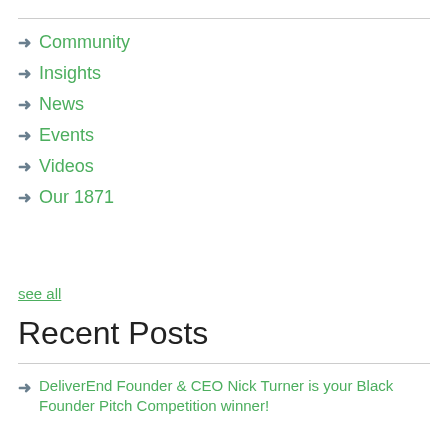→ Community
→ Insights
→ News
→ Events
→ Videos
→ Our 1871
see all
Recent Posts
→ DeliverEnd Founder & CEO Nick Turner is your Black Founder Pitch Competition winner!